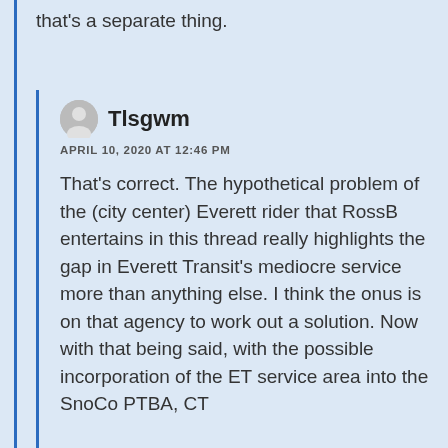that's a separate thing.
Tlsgwm
APRIL 10, 2020 AT 12:46 PM
That's correct. The hypothetical problem of the (city center) Everett rider that RossB entertains in this thread really highlights the gap in Everett Transit's mediocre service more than anything else. I think the onus is on that agency to work out a solution. Now with that being said, with the possible incorporation of the ET service area into the SnoCo PTBA, CT